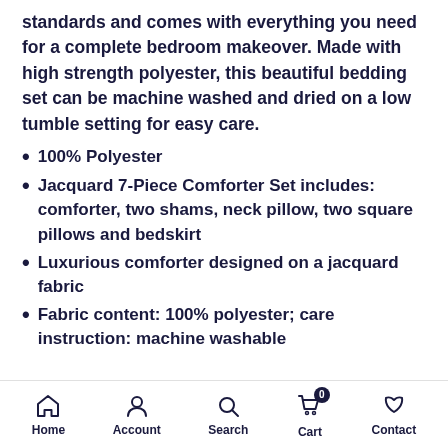standards and comes with everything you need for a complete bedroom makeover. Made with high strength polyester, this beautiful bedding set can be machine washed and dried on a low tumble setting for easy care.
100% Polyester
Jacquard 7-Piece Comforter Set includes: comforter, two shams, neck pillow, two square pillows and bedskirt
Luxurious comforter designed on a jacquard fabric
Fabric content: 100% polyester; care instruction: machine washable
Home  Account  Search  Cart 0  Contact